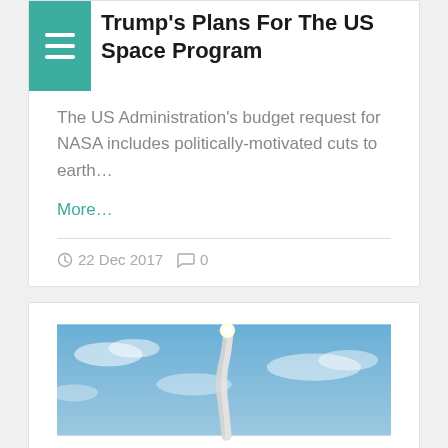Trump's Plans For The US Space Program
The US Administration's budget request for NASA includes politically-motivated cuts to earth…
More…
22 Dec 2017   0
[Figure (photo): Rocket launch against blue sky with clouds, smoke trail visible]